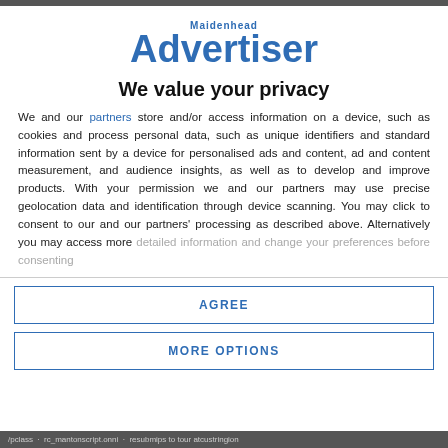[Figure (logo): Maidenhead Advertiser logo in blue]
We value your privacy
We and our partners store and/or access information on a device, such as cookies and process personal data, such as unique identifiers and standard information sent by a device for personalised ads and content, ad and content measurement, and audience insights, as well as to develop and improve products. With your permission we and our partners may use precise geolocation data and identification through device scanning. You may click to consent to our and our partners' processing as described above. Alternatively you may access more detailed information and change your preferences before consenting
AGREE
MORE OPTIONS
/pclass . rc_mantonscript.onni · resubmips to tour atcustringion